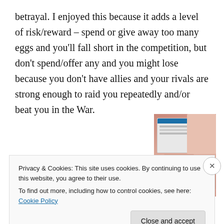betrayal. I enjoyed this because it adds a level of risk/reward – spend or give away too many eggs and you'll fall short in the competition, but don't spend/offer any and you might lose because you don't have allies and your rivals are strong enough to raid you repeatedly and/or beat you in the War.
[Figure (other): Advertisement banner with dark navy background, text 'Built for you.' and a 'Get a quote now' button, with fashion images on the right side showing models.]
Privacy & Cookies: This site uses cookies. By continuing to use this website, you agree to their use.
To find out more, including how to control cookies, see here: Cookie Policy
Close and accept